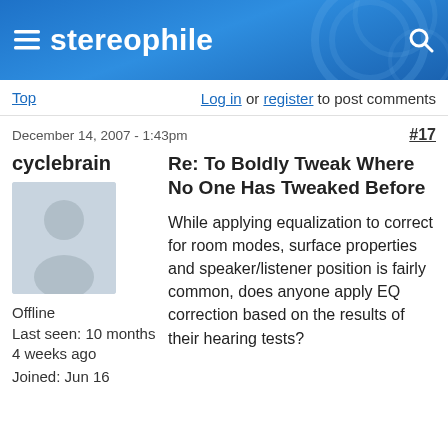stereophile
Top   Log in or register to post comments
December 14, 2007 - 1:43pm   #17
cyclebrain
Re: To Boldly Tweak Where No One Has Tweaked Before
Offline
Last seen: 10 months 4 weeks ago
Joined: Jun 16
While applying equalization to correct for room modes, surface properties and speaker/listener position is fairly common, does anyone apply EQ correction based on the results of their hearing tests?